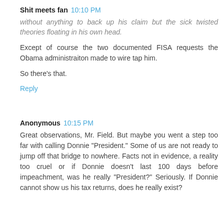Shit meets fan  10:10 PM
without anything to back up his claim but the sick twisted theories floating in his own head.
Except of course the two documented FISA requests the Obama administraiton made to wire tap him.
So there’s that.
Reply
Anonymous  10:15 PM
Great observations, Mr. Field. But maybe you went a step too far with calling Donnie "President." Some of us are not ready to jump off that bridge to nowhere. Facts not in evidence, a reality too cruel or if Donnie doesn't last 100 days before impeachment, was he really "President?" Seriously. If Donnie cannot show us his tax returns, does he really exist?